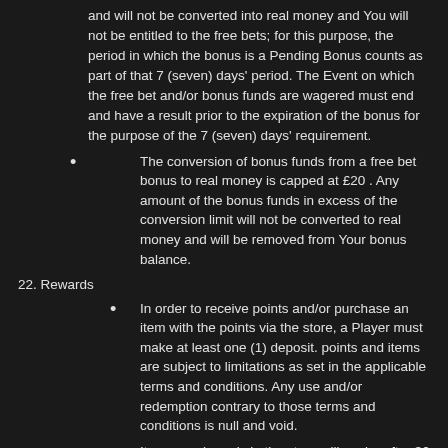and will not be converted into real money and You will not be entitled to the free bets; for this purpose, the period in which the bonus is a Pending Bonus counts as part of that 7 (seven) days' period. The Event on which the free bet and/or bonus funds are wagered must end and have a result prior to the expiration of the bonus for the purpose of the 7 (seven) days' requirement.
The conversion of bonus funds from a free bet bonus to real money is capped at £20 . Any amount of the bonus funds in excess of the conversion limit will not be converted to real money and will be removed from Your bonus balance.
22. Rewards
In order to receive points and/or purchase an item with the points via the store, a Player must make at least one (1) deposit. points and items are subject to limitations as set in the applicable terms and conditions. Any use and/or redemption contrary to those terms and conditions is null and void.
Items purchased via the store will expire after 30 days